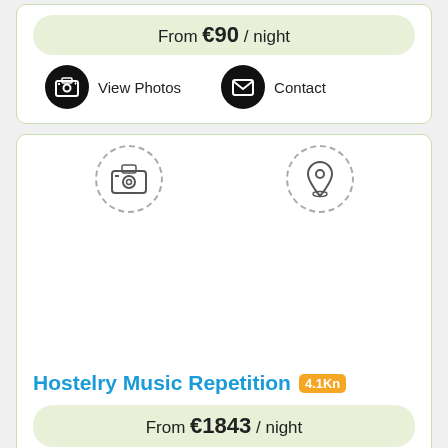From €90 / night
View Photos
Contact
[Figure (other): Camera icon with dashed circle border]
[Figure (other): Location pin icon with dashed circle border]
Hostelry Music Repetition 4.1Km
From €1843 / night
Book Now